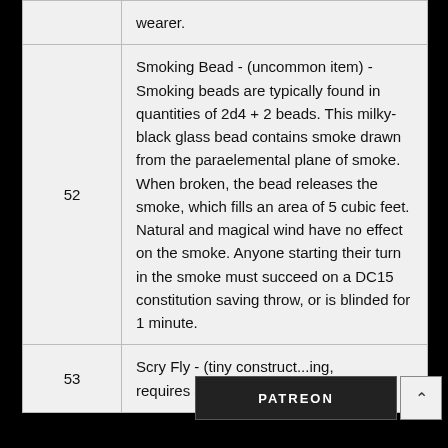| # | Description |
| --- | --- |
|  | wearer. |
| 52 | Smoking Bead - (uncommon item) - Smoking beads are typically found in quantities of 2d4 + 2 beads. This milky-black glass bead contains smoke drawn from the paraelemental plane of smoke. When broken, the bead releases the smoke, which fills an area of 5 cubic feet. Natural and magical wind have no effect on the smoke. Anyone starting their turn in the smoke must succeed on a DC15 constitution saving throw, or is blinded for 1 minute. |
| 53 | Scry Fly - (tiny con[struct]...ing, requires attunement) - This clockwork... |